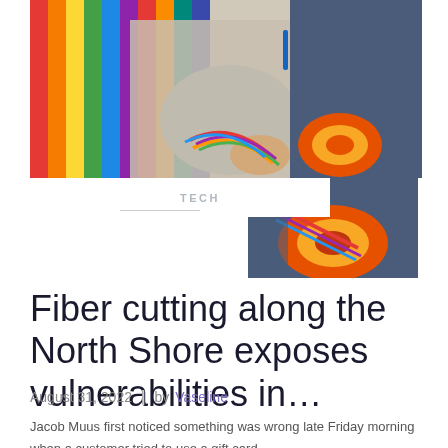[Figure (photo): Photo of a person holding colorful fiber/cable bundles in what appears to be a store or warehouse with colorful items in the background]
TECH
Fiber cutting along the North Shore exposes vulnerabilities in…
August 31, 2022  |  by Vaseline
Jacob Muus first noticed something was wrong late Friday morning when a customer tried to use a gift card.